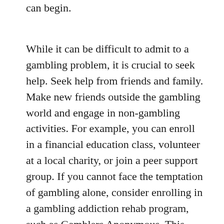can begin.
While it can be difficult to admit to a gambling problem, it is crucial to seek help. Seek help from friends and family. Make new friends outside the gambling world and engage in non-gambling activities. For example, you can enroll in a financial education class, volunteer at a local charity, or join a peer support group. If you cannot face the temptation of gambling alone, consider enrolling in a gambling addiction rehab program, such as Gamblers Anonymous. This 12-step program is modeled after Alcoholics Anonymous. During the program, you will be assigned a sponsor – a former gambler who will guide you and give